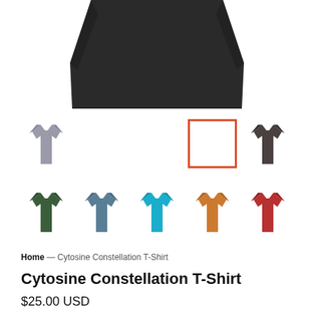[Figure (photo): Product image showing a dark/black t-shirt laid flat, cropped at top — only the bottom portion of the folded shirt visible against white background]
[Figure (photo): Row 1 of t-shirt color thumbnails: gray t-shirt, an orange-bordered white selected box (white/no color selected), and a dark gray/charcoal t-shirt]
[Figure (photo): Row 2 of t-shirt color thumbnails: dark green, slate blue, bright cyan/turquoise, orange, and red t-shirts]
Home — Cytosine Constellation T-Shirt
Cytosine Constellation T-Shirt
$25.00 USD